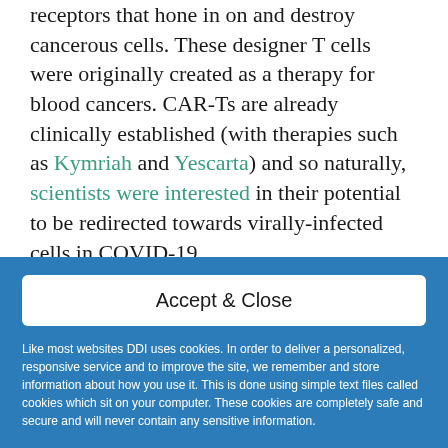receptors that hone in on and destroy cancerous cells. These designer T cells were originally created as a therapy for blood cancers. CAR-Ts are already clinically established (with therapies such as Kymriah and Yescarta) and so naturally, scientists were interested in their potential to be redirected towards virally-infected cells in COVID-19.
Accept & Close
Like most websites DDI uses cookies. In order to deliver a personalized, responsive service and to improve the site, we remember and store information about how you use it. This is done using simple text files called cookies which sit on your computer. These cookies are completely safe and secure and will never contain any sensitive information.